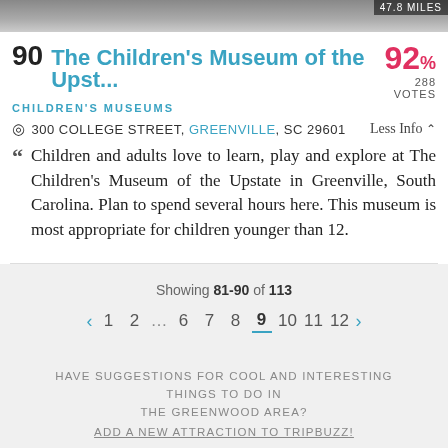[Figure (photo): Top banner photo strip of an attraction, partially cropped, with a distance badge '47.8 MILES' in the top right corner.]
90 The Children's Museum of the Upst...  92% 288 VOTES
CHILDREN'S MUSEUMS
300 COLLEGE STREET, GREENVILLE, SC 29601  Less Info
Children and adults love to learn, play and explore at The Children's Museum of the Upstate in Greenville, South Carolina. Plan to spend several hours here. This museum is most appropriate for children younger than 12.
Showing 81-90 of 113
< 1 2 … 6 7 8 9 10 11 12 >
HAVE SUGGESTIONS FOR COOL AND INTERESTING THINGS TO DO IN THE GREENWOOD AREA? ADD A NEW ATTRACTION TO TRIPBUZZ!